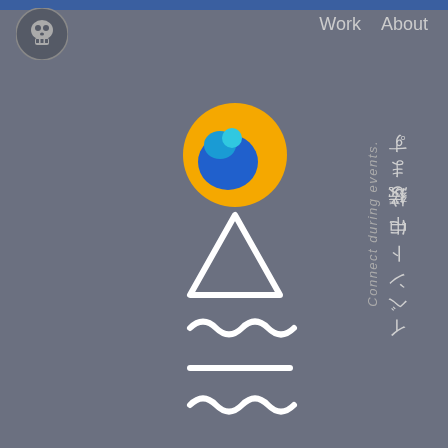Work  About
[Figure (logo): Skull logo top left, circular with skull icon]
[Figure (illustration): Center illustration: yellow/blue circular app icon (Fenix/Mercury-like), white triangle, white tilde/wave, white dash, white tilde/wave symbols stacked vertically. Vertical Japanese text reading イベント中に接続します。 and English text Connect during events.]